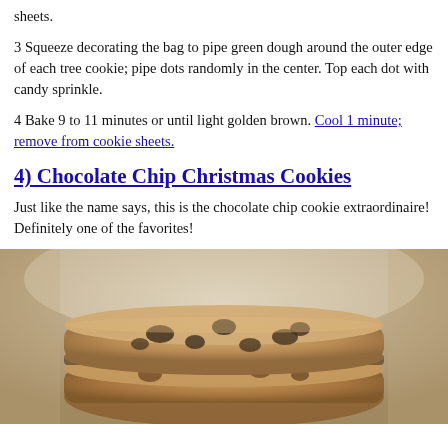sheets.
3 Squeeze decorating the bag to pipe green dough around the outer edge of each tree cookie; pipe dots randomly in the center. Top each dot with candy sprinkle.
4 Bake 9 to 11 minutes or until light golden brown. Cool 1 minute; remove from cookie sheets.
4) Chocolate Chip Christmas Cookies
Just like the name says, this is the chocolate chip cookie extraordinaire! Definitely one of the favorites!
[Figure (photo): Stack of chocolate chip cookies, close-up photo showing golden-brown cookies with visible chocolate chips]